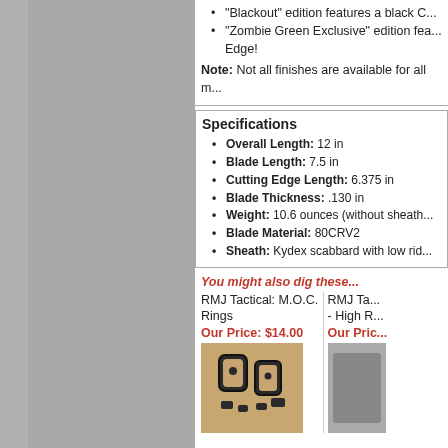[Figure (photo): Gray panel on the left side of the page, likely showing a knife or product image cropped]
"Blackout" edition features a black C...
"Zombie Green Exclusive" edition fea... Edge!
Note: Not all finishes are available for all m...
Specifications
Overall Length: 12 in
Blade Length: 7.5 in
Cutting Edge Length: 6.375 in
Blade Thickness: .130 in
Weight: 10.6 ounces (without sheath...)
Blade Material: 80CRV2
Sheath: Kydex scabbard with low rid...
You might also dig these...
RMJ Tactical: M.O.C. Rings
Our Price: $14.00
[Figure (photo): Photo of RMJ Tactical M.O.C. Rings, black metal hardware on a wooden background]
RMJ Ta... - High R...
Our Pric...